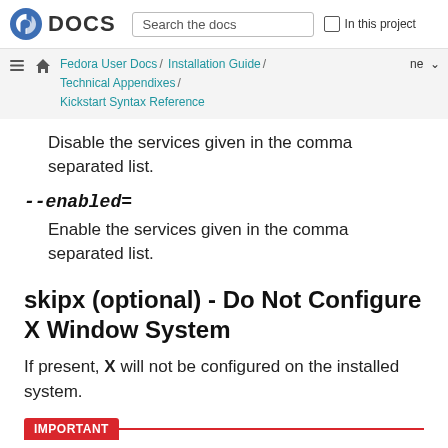Fedora DOCS | Search the docs | In this project
Fedora User Docs / Installation Guide / Technical Appendixes / Kickstart Syntax Reference | ne
Disable the services given in the comma separated list.
--enabled=
Enable the services given in the comma separated list.
skipx (optional) - Do Not Configure X Window System
If present, X will not be configured on the installed system.
IMPORTANT